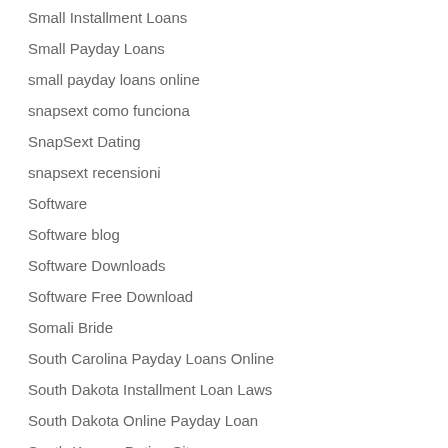Small Installment Loans
Small Payday Loans
small payday loans online
snapsext como funciona
SnapSext Dating
snapsext recensioni
Software
Software blog
Software Downloads
Software Free Download
Somali Bride
South Carolina Payday Loans Online
South Dakota Installment Loan Laws
South Dakota Online Payday Loan
South-Korean Dating Sites
Sowtware Downloads